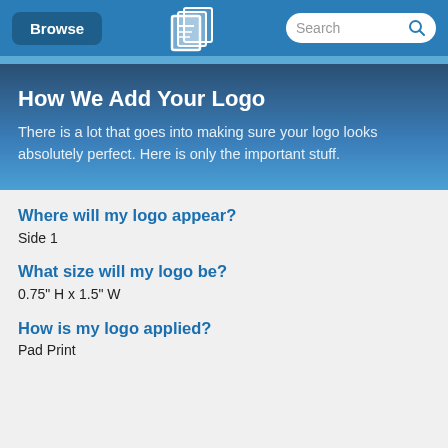[Figure (screenshot): Website navigation bar with Browse button, QLP logo, and Search field]
How We Add Your Logo
There is a lot that goes into making sure your logo looks absolutely perfect. Here is only the important stuff.
Where will my logo appear?
Side 1
What size will my logo be?
0.75" H x 1.5" W
How is my logo applied?
Pad Print